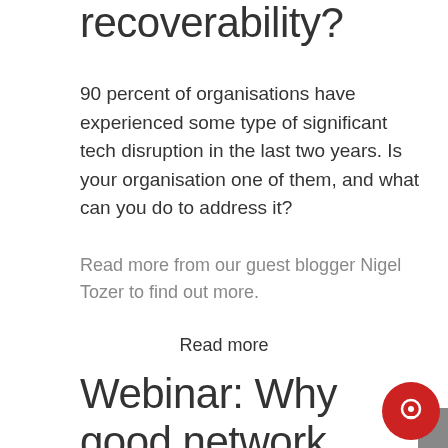recoverability?
90 percent of organisations have experienced some type of significant tech disruption in the last two years. Is your organisation one of them, and what can you do to address it?
Read more from our guest blogger Nigel Tozer to find out more.
Read more
Webinar: Why good network management is more important than ever.